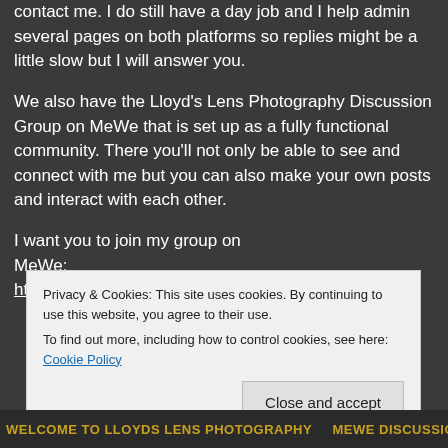contact me. I do still have a day job and I help admin several pages on both platforms so replies might be a little slow but I will answer you.
We also have the Lloyd's Lens Photography Discussion Group on MeWe that is set up as a fully functional community. There you'll not only be able to see and connect with me but you can also make your own posts and interact with each other.
I want you to join my group on MeWe: https://mewe.com/join/lloydslensphotographydisco
Privacy & Cookies: This site uses cookies. By continuing to use this website, you agree to their use.
To find out more, including how to control cookies, see here: Cookie Policy
Close and accept
[Figure (screenshot): Bottom banner with yellow text reading 'WELCOME TO LLOYDS LENS PHOTOGRAPHY MEWE DISCUSSION GROUP']